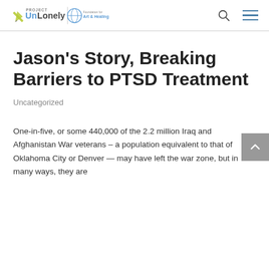Project UnLonely | Foundation for Art & Healing
Jason's Story, Breaking Barriers to PTSD Treatment
Uncategorized
One-in-five, or some 440,000 of the 2.2 million Iraq and Afghanistan War veterans – a population equivalent to that of Oklahoma City or Denver — may have left the war zone, but in many ways, they are